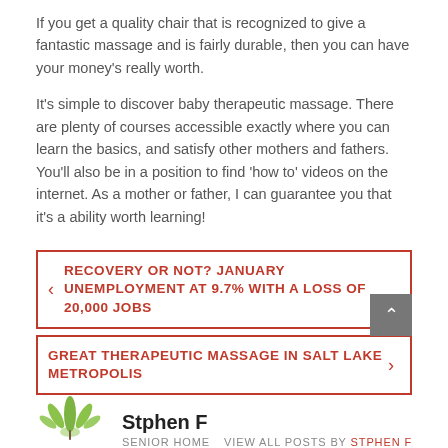If you get a quality chair that is recognized to give a fantastic massage and is fairly durable, then you can have your money's really worth.
It's simple to discover baby therapeutic massage. There are plenty of courses accessible exactly where you can learn the basics, and satisfy other mothers and fathers. You'll also be in a position to find 'how to' videos on the internet. As a mother or father, I can guarantee you that it's a ability worth learning!
RECOVERY OR NOT? JANUARY UNEMPLOYMENT AT 9.7% WITH A LOSS OF 20,000 JOBS
GREAT THERAPEUTIC MASSAGE IN SALT LAKE METROPOLIS
Stphen F
SENIOR HOME
VIEW ALL POSTS BY STPHEN F